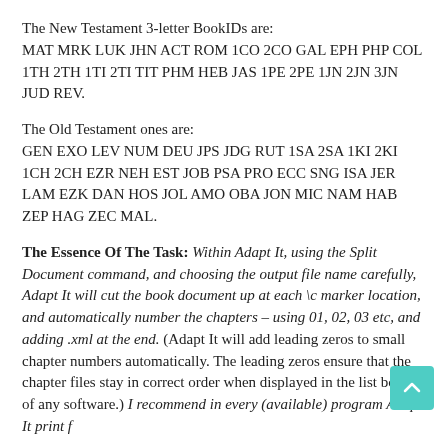The New Testament 3-letter BookIDs are:
MAT MRK LUK JHN ACT ROM 1CO 2CO GAL EPH PHP COL 1TH 2TH 1TI 2TI TIT PHM HEB JAS 1PE 2PE 1JN 2JN 3JN JUD REV.
The Old Testament ones are:
GEN EXO LEV NUM DEU JPS JDG RUT 1SA 2SA 1KI 2KI 1CH 2CH EZR NEH EST JOB PSA PRO ECC SNG ISA JER LAM EZK DAN HOS JOL AMO OBA JON MIC NAM HAB ZEP HAG ZEC MAL.
The Essence Of The Task: Within Adapt It, using the Split Document command, and choosing the output file name carefully, Adapt It will cut the book document up at each \c marker location, and automatically number the chapters – using 01, 02, 03 etc, and adding .xml at the end. (Adapt It will add leading zeros to small chapter numbers automatically. The leading zeros ensure that the chapter files stay in correct order when displayed in the list boxes of any software.) I recommend in every (available) program Adapt It print f